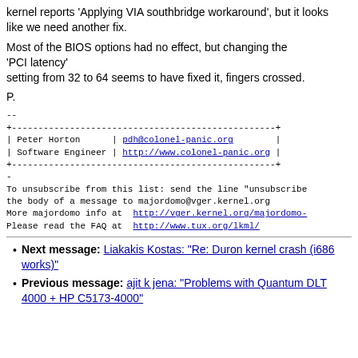kernel reports 'Applying VIA southbridge workaround', but it looks
like we need another fix.
Most of the BIOS options had no effect, but changing the 'PCI latency'
setting from 32 to 64 seems to have fixed it, fingers crossed.
P.
--
+--------------------------------------------------+
| Peter Horton      | pdh@colonel-panic.org        |
| Software Engineer | http://www.colonel-panic.org |
+--------------------------------------------------+
-
To unsubscribe from this list: send the line "unsubscribe
the body of a message to majordomo@vger.kernel.org
More majordomo info at  http://vger.kernel.org/majordomo-
Please read the FAQ at  http://www.tux.org/lkml/
Next message: Liakakis Kostas: "Re: Duron kernel crash (i686 works)"
Previous message: ajit k jena: "Problems with Quantum DLT 4000 + HP C5173-4000"